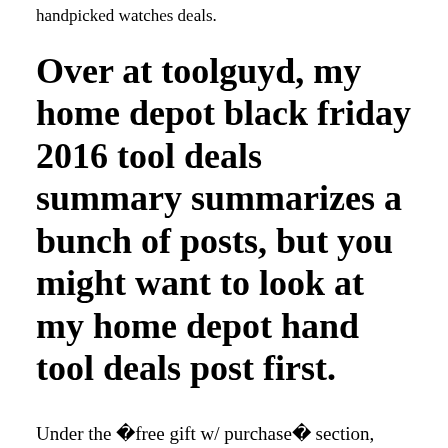handpicked watches deals.
Over at toolguyd, my home depot black friday 2016 tool deals summary summarizes a bunch of posts, but you might want to look at my home depot hand tool deals post first.
Under the �free gift w/ purchase� section, select the free tool after selecting your tool, click on the add both to cart;